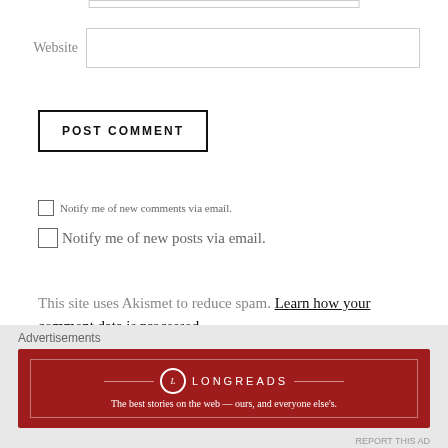Website
POST COMMENT
Notify me of new comments via email.
Notify me of new posts via email.
This site uses Akismet to reduce spam. Learn how your comment data is processed.
Advertisements
[Figure (logo): Longreads advertisement banner: red background with Longreads logo and tagline 'The best stories on the web — ours, and everyone else's.']